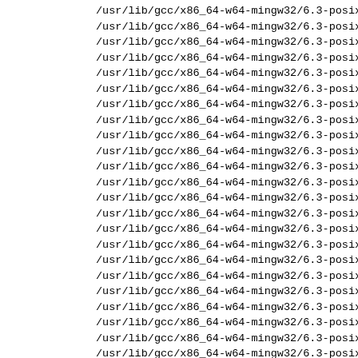/usr/lib/gcc/x86_64-w64-mingw32/6.3-posix/adalib/g
/usr/lib/gcc/x86_64-w64-mingw32/6.3-posix/adalib/g
/usr/lib/gcc/x86_64-w64-mingw32/6.3-posix/adalib/g
/usr/lib/gcc/x86_64-w64-mingw32/6.3-posix/adalib/g
/usr/lib/gcc/x86_64-w64-mingw32/6.3-posix/adalib/g
/usr/lib/gcc/x86_64-w64-mingw32/6.3-posix/adalib/g
/usr/lib/gcc/x86_64-w64-mingw32/6.3-posix/adalib/g
/usr/lib/gcc/x86_64-w64-mingw32/6.3-posix/adalib/g
/usr/lib/gcc/x86_64-w64-mingw32/6.3-posix/adalib/g
/usr/lib/gcc/x86_64-w64-mingw32/6.3-posix/adalib/g
/usr/lib/gcc/x86_64-w64-mingw32/6.3-posix/adalib/g
/usr/lib/gcc/x86_64-w64-mingw32/6.3-posix/adalib/g
/usr/lib/gcc/x86_64-w64-mingw32/6.3-posix/adalib/g
/usr/lib/gcc/x86_64-w64-mingw32/6.3-posix/adalib/g
/usr/lib/gcc/x86_64-w64-mingw32/6.3-posix/adalib/g
/usr/lib/gcc/x86_64-w64-mingw32/6.3-posix/adalib/g
/usr/lib/gcc/x86_64-w64-mingw32/6.3-posix/adalib/g
/usr/lib/gcc/x86_64-w64-mingw32/6.3-posix/adalib/g
/usr/lib/gcc/x86_64-w64-mingw32/6.3-posix/adalib/g
/usr/lib/gcc/x86_64-w64-mingw32/6.3-posix/adalib/g
/usr/lib/gcc/x86_64-w64-mingw32/6.3-posix/adalib/g
/usr/lib/gcc/x86_64-w64-mingw32/6.3-posix/adalib/g
/usr/lib/gcc/x86_64-w64-mingw32/6.3-posix/adalib/g